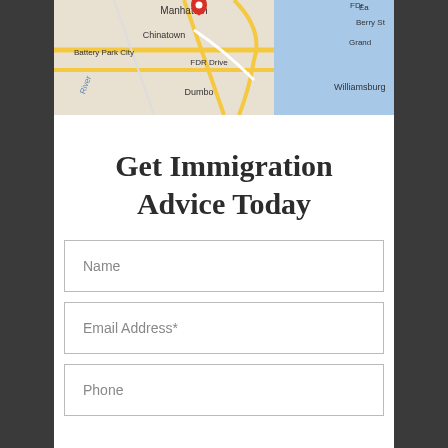[Figure (map): Google Maps screenshot showing lower Manhattan area including Chinatown, Battery Park City, FDR Drive, Dumbo, Williamsburg, with a red location pin marker at top center]
Get Immigration Advice Today
Name
Email Address*
Phone